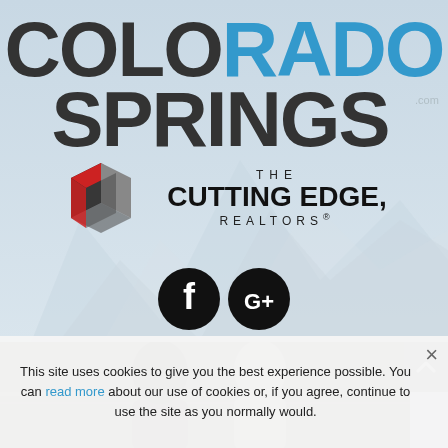[Figure (logo): Colorado Springs .com logo with mountain silhouette background. 'COLO' in dark gray, 'RADO' in blue, 'SPRINGS' in dark gray, large bold uppercase text.]
[Figure (logo): The Cutting Edge, Realtors logo — geometric 3D cube icon in dark gray and red on left, text on right reading 'THE CUTTING EDGE, REALTORS®' in uppercase.]
[Figure (illustration): Two social media icons: black circle with white lowercase 'f' (Facebook), black circle with white 'G+' (Google Plus).]
[Figure (photo): Photo strip showing two men smiling outdoors, cropped at bottom by cookie banner.]
This site uses cookies to give you the best experience possible. You can read more about our use of cookies or, if you agree, continue to use the site as you normally would.